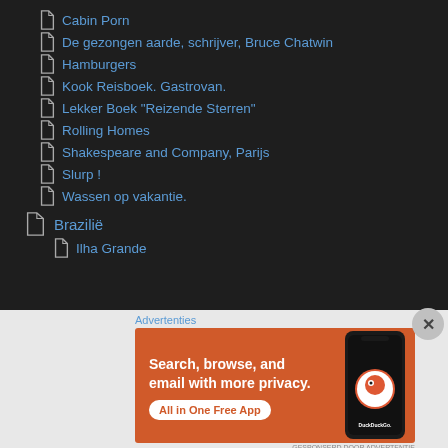Cabin Porn
De gezongen aarde, schrijver, Bruce Chatwin
Hamburgers
Kook Reisboek. Gastrovan.
Lekker Boek "Reizende Sterren"
Rolling Homes
Shakespeare and Company, Parijs
Slurp !
Wassen op vakantie.
Brazilië
Ilha Grande
Advertenties
[Figure (screenshot): DuckDuckGo advertisement banner with orange background, text 'Search, browse, and email with more privacy. All in One Free App', with a phone graphic showing DuckDuckGo logo]